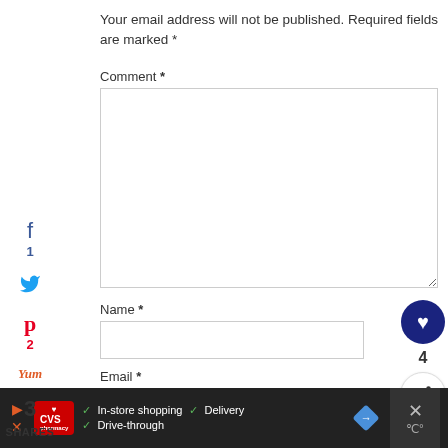Your email address will not be published. Required fields are marked *
Comment *
Name *
Email *
[Figure (infographic): Social media share sidebar on the left with Facebook icon and count 1, Twitter bird icon, Pinterest icon and count 2, Yummly icon. Shows 3 SHARES total. Right side has a dark navy heart button and share button, with count 4.]
[Figure (infographic): CVS Pharmacy advertisement banner at bottom. Dark background with CVS logo, checkmarks for In-store shopping, Drive-through, Delivery. Blue diamond direction sign icon and close X button.]